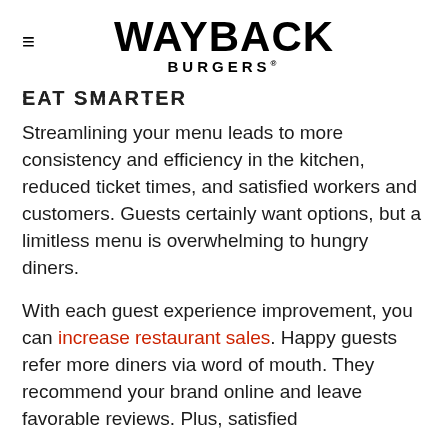WAYBACK BURGERS
EAT SMARTER
Streamlining your menu leads to more consistency and efficiency in the kitchen, reduced ticket times, and satisfied workers and customers. Guests certainly want options, but a limitless menu is overwhelming to hungry diners.
With each guest experience improvement, you can increase restaurant sales. Happy guests refer more diners via word of mouth. They recommend your brand online and leave favorable reviews. Plus, satisfied